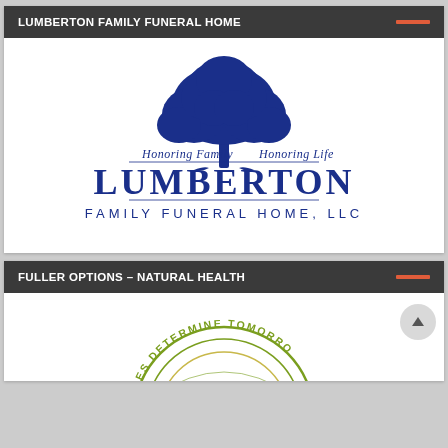LUMBERTON FAMILY FUNERAL HOME
[Figure (logo): Lumberton Family Funeral Home LLC logo with a large blue oak tree above the text 'Honoring Family – Honoring Life' in script, and 'LUMBERTON FAMILY FUNERAL HOME, LLC' in large serif blue capital letters below]
FULLER OPTIONS – NATURAL HEALTH
[Figure (logo): Fuller Options Natural Health circular logo with text arcing around the top reading 'ICES DETERMINE TOMORRO' (partially visible), green circular design with inner arcs]